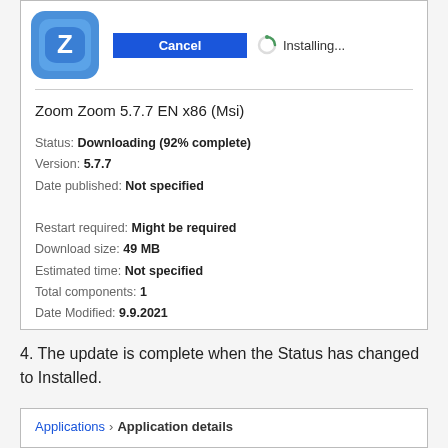[Figure (screenshot): Zoom app installation dialog showing Cancel button and Installing... status with spinner icon]
Zoom Zoom 5.7.7 EN x86 (Msi)
Status: Downloading (92% complete)
Version: 5.7.7
Date published: Not specified
Restart required: Might be required
Download size: 49 MB
Estimated time: Not specified
Total components: 1
Date Modified: 9.9.2021
4. The update is complete when the Status has changed to Installed.
Applications > Application details